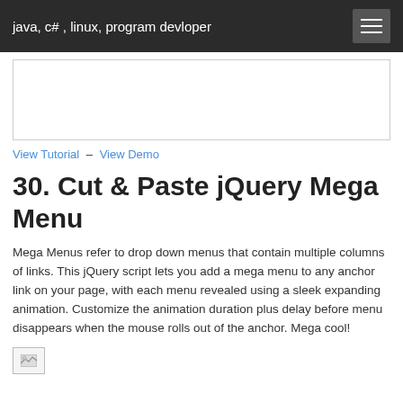java, c# , linux, program devloper
View Tutorial – View Demo
30. Cut & Paste jQuery Mega Menu
Mega Menus refer to drop down menus that contain multiple columns of links. This jQuery script lets you add a mega menu to any anchor link on your page, with each menu revealed using a sleek expanding animation. Customize the animation duration plus delay before menu disappears when the mouse rolls out of the anchor. Mega cool!
[Figure (screenshot): Thumbnail preview image of the jQuery Mega Menu demo]